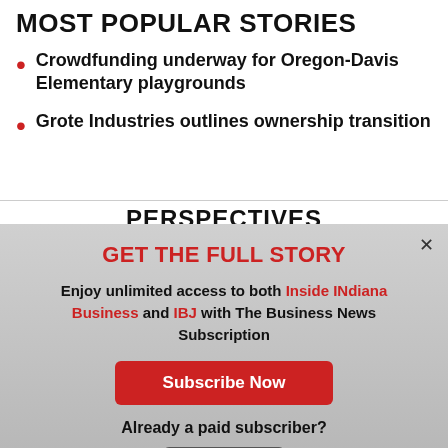MOST POPULAR STORIES
Crowdfunding underway for Oregon-Davis Elementary playgrounds
Grote Industries outlines ownership transition
PERSPECTIVES
GET THE FULL STORY
Enjoy unlimited access to both Inside INdiana Business and IBJ with The Business News Subscription
Subscribe Now
Already a paid subscriber?
Log In